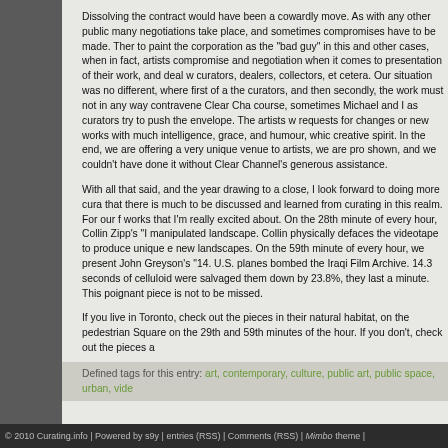Dissolving the contract would have been a cowardly move. As with any other public many negotiations take place, and sometimes compromises have to be made. Ther to paint the corporation as the "bad guy" in this and other cases, when in fact, artists compromise and negotiation when it comes to presentation of their work, and deal w curators, dealers, collectors, et cetera. Our situation was no different, where first of a the curators, and then secondly, the work must not in any way contravene Clear Cha course, sometimes Michael and I as curators try to push the envelope. The artists w requests for changes or new works with much intelligence, grace, and humour, whic creative spirit. In the end, we are offering a very unique venue to artists, we are pro shown, and we couldn't have done it without Clear Channel's generous assistance.
With all that said, and the year drawing to a close, I look forward to doing more cura that there is much to be discussed and learned from curating in this realm. For our f works that I'm really excited about. On the 28th minute of every hour, Collin Zipp's " manipulated landscape. Collin physically defaces the videotape to produce unique e new landscapes. On the 59th minute of every hour, we present John Greyson's "14. U.S. planes bombed the Iraqi Film Archive. 14.3 seconds of celluloid were salvaged them down by 23.8%, they last a minute. This poignant piece is not to be missed.
If you live in Toronto, check out the pieces in their natural habitat, on the pedestrian Square on the 29th and 59th minutes of the hour. If you don't, check out the pieces a
Defined tags for this entry: art, contemporary, culture, public art, public space, urban, vide
(Page 1 of 1, totaling 6 entries)
© 2010 Curating.info | Powered by s9y | entries (RSS) | Comments (RSS) | Mimbo theme |